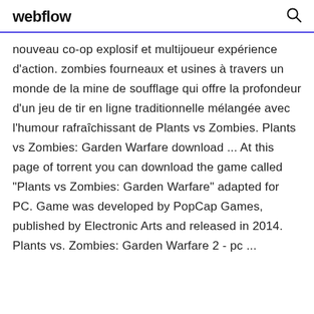webflow
nouveau co-op explosif et multijoueur expérience d'action. zombies fourneaux et usines à travers un monde de la mine de soufflage qui offre la profondeur d'un jeu de tir en ligne traditionnelle mélangée avec l'humour rafraîchissant de Plants vs Zombies. Plants vs Zombies: Garden Warfare download ... At this page of torrent you can download the game called "Plants vs Zombies: Garden Warfare" adapted for PC. Game was developed by PopCap Games, published by Electronic Arts and released in 2014. Plants vs. Zombies: Garden Warfare 2 - pc ...